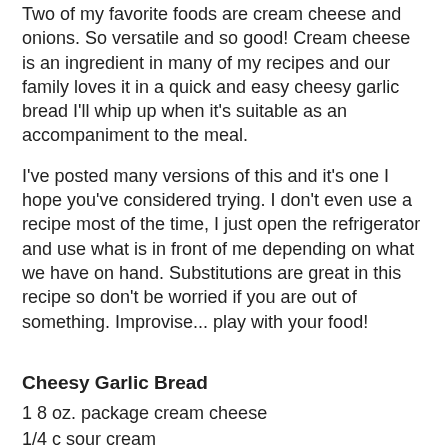Two of my favorite foods are cream cheese and onions.  So versatile and so good!  Cream cheese is an ingredient in many of my recipes and our family loves it in a quick and easy cheesy garlic bread I'll whip up when it's suitable as an accompaniment to the meal.
I've posted many versions of this and it's one I hope you've considered trying.  I don't even use a recipe most of the time, I just open the refrigerator and use what is in front of me depending on what we have on hand.  Substitutions are great in this recipe so don't be worried if you are out of something.  Improvise... play with your food!
Cheesy Garlic Bread
1 8 oz. package cream cheese
1/4 c sour cream
2 T mayonnaise
1/4 c fresh grated Parmesan cheese
1 T dried parsley
1 T onion powder or to taste & think biting